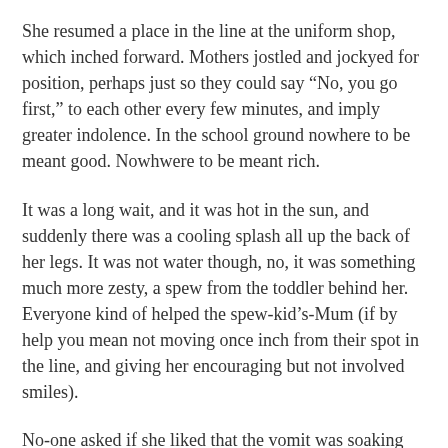She resumed a place in the line at the uniform shop, which inched forward.  Mothers jostled and jockyed for position, perhaps just so they could say “No, you go first,” to each other every few minutes, and imply greater indolence.  In the school ground nowhere to be meant good.  Nowhwere to be meant rich.
It was a long wait, and it was hot in the sun, and suddenly there was a cooling splash all up the back of her legs.  It was not water though, no, it was something much more zesty, a spew from the toddler behind her.  Everyone kind of helped the spew-kid’s-Mum (if by help you mean not moving once inch from their spot in the line, and giving her encouraging but not involved smiles).
No-one asked if she liked that the vomit was soaking into the cork of her Birkenstocks..
Finally, the wait was over, she got the hats, got them to the kids and got the hell outa there.  She came home, looked at her World Clock for a bit, and was complete. Fangio S...